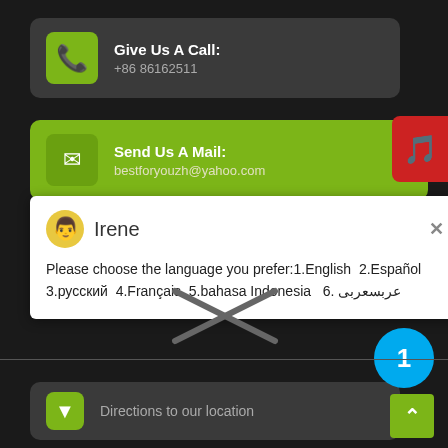Give Us A Call: +86 86162511
Send Us A Mail: bestforyouzh@yahoo.com
Irene
Please choose the language you prefer:1.English  2.Español  3.русский  4.Français  5.bahasa Indonesia  6. عربسعربی
Directions to our location
1